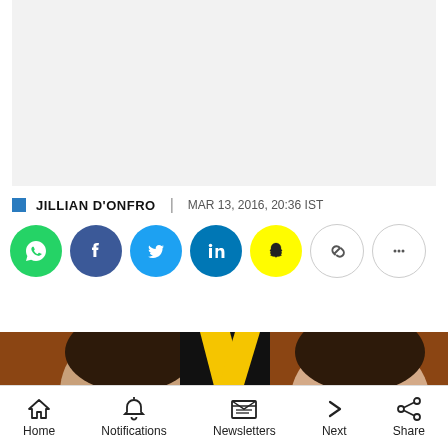[Figure (other): Gray advertisement placeholder rectangle at top of page]
JILLIAN D'ONFRO | MAR 13, 2016, 20:36 IST
[Figure (other): Social sharing buttons row: WhatsApp (green), Facebook (dark blue), Twitter (blue), LinkedIn (blue), Snapchat (yellow), Link (white/outline), More (white/outline dots)]
[Figure (photo): Photo showing two people's heads from above, with a yellow diagonal stripe/badge between them, against a dark background]
[Figure (other): Bottom navigation bar with icons and labels: Home, Notifications, Newsletters, Next, Share]